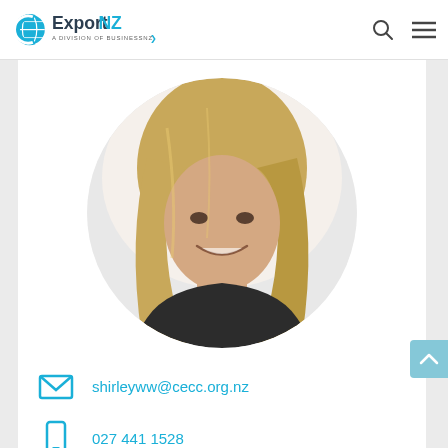ExportNZ — A Division of BusinessNZ
[Figure (photo): Circular headshot photo of a smiling woman with long blonde hair wearing a dark top]
shirleyww@cecc.org.nz
027 441 1528